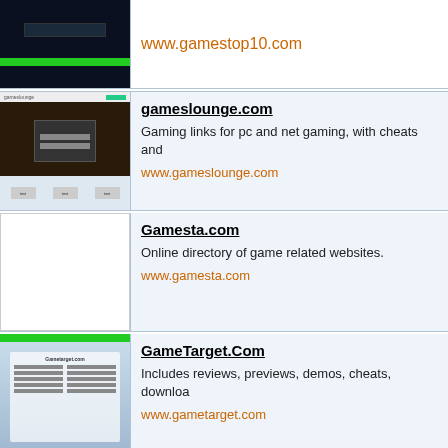[Figure (screenshot): Screenshot of gamestop10.com with dark background and green bar]
www.gamestop10.com
[Figure (screenshot): Screenshot of gameslounge.com with dark gaming background]
gameslounge.com
Gaming links for pc and net gaming, with cheats and
www.gameslounge.com
[Figure (screenshot): Blank white thumbnail for Gamesta.com]
Gamesta.com
Online directory of game related websites.
www.gamesta.com
[Figure (screenshot): Screenshot of GameTarget.com with cloud background]
GameTarget.Com
Includes reviews, previews, demos, cheats, downloa
www.gametarget.com
[Figure (screenshot): Screenshot of The GameToolbox with dark background]
The GameToolbox
Directory for tools and links to popular 3D games